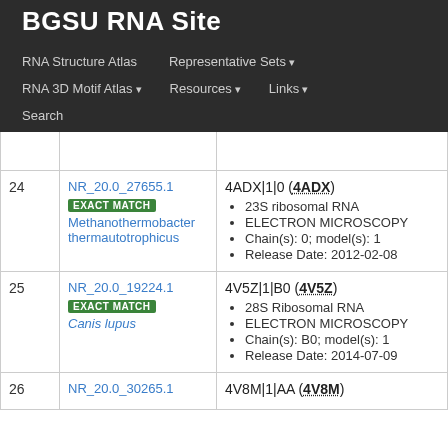BGSU RNA Site
RNA Structure Atlas | Representative Sets ▾ | RNA 3D Motif Atlas ▾ | Resources ▾ | Links ▾ | Search
| # | ID | Details |
| --- | --- | --- |
| 24 | NR_20.0_27655.1 EXACT MATCH Methanothermobacter thermautotrophicus | 4ADX|1|0 (4ADX) • 23S ribosomal RNA • ELECTRON MICROSCOPY • Chain(s): 0; model(s): 1 • Release Date: 2012-02-08 |
| 25 | NR_20.0_19224.1 EXACT MATCH Canis lupus | 4V5Z|1|B0 (4V5Z) • 28S Ribosomal RNA • ELECTRON MICROSCOPY • Chain(s): B0; model(s): 1 • Release Date: 2014-07-09 |
| 26 | NR_20.0_30265.1 | 4V8M|1|AA (4V8M) |